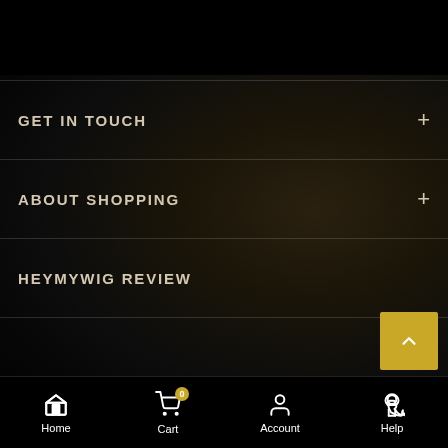[Figure (screenshot): Dark mobile app screenshot with blurred background figure of a person, showing a navigation menu]
GET IN TOUCH
ABOUT SHOPPING
HEYMYWIG REVIEW
Home | Cart 0 | Account | Help